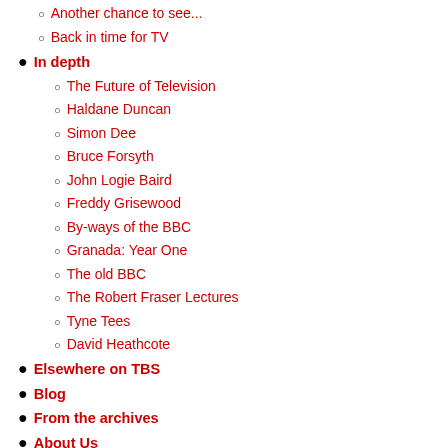Another chance to see...
Back in time for TV
In depth
The Future of Television
Haldane Duncan
Simon Dee
Bruce Forsyth
John Logie Baird
Freddy Grisewood
By-ways of the BBC
Granada: Year One
The old BBC
The Robert Fraser Lectures
Tyne Tees
David Heathcote
Elsewhere on TBS
Blog
From the archives
About Us